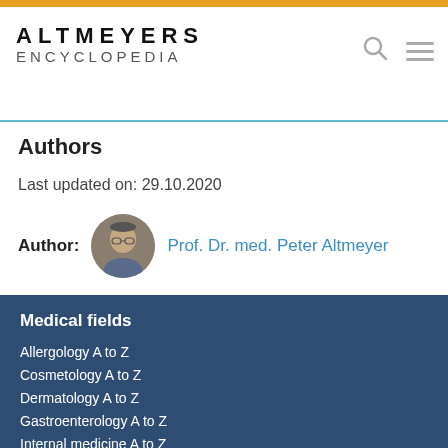ALTMEYERS ENCYCLOPEDIA
Authors
Last updated on: 29.10.2020
Author: Prof. Dr. med. Peter Altmeyer
Medical fields
Allergology A to Z
Cosmetology A to Z
Dermatology A to Z
Gastroenterology A to Z
Internal medicine A to Z
Microbiology A to Z
Phytotherapy A to Z
Vascular medicine A to Z